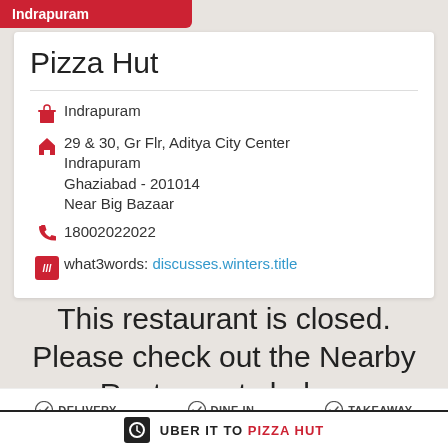Indrapuram
Pizza Hut
Indrapuram
29 & 30, Gr Flr, Aditya City Center
Indrapuram
Ghaziabad - 201014
Near Big Bazaar
18002022022
what3words: discusses.winters.title
This restaurant is closed. Please check out the Nearby Restaurants below
DELIVERY   DINE IN   TAKEAWAY
UBER IT TO PIZZA HUT